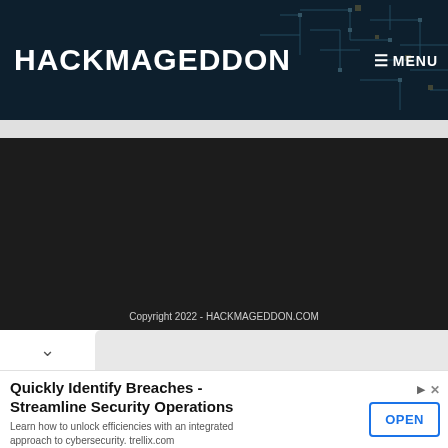HACKMAGEDDON
[Figure (screenshot): Dark cybersecurity website main content area with black background]
Copyright 2022 - HACKMAGEDDON.COM
Quickly Identify Breaches - Streamline Security Operations
Learn how to unlock efficiencies with an integrated approach to cybersecurity. trellix.com